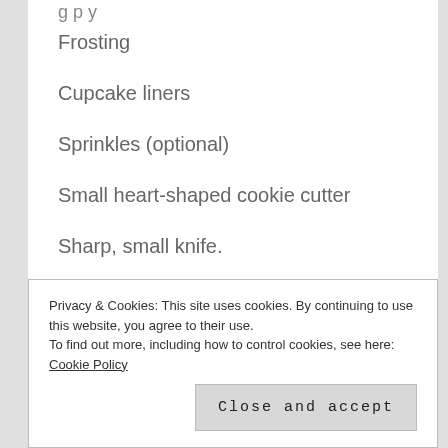g p y
Frosting
Cupcake liners
Sprinkles (optional)
Small heart-shaped cookie cutter
Sharp, small knife.
Whisk. Mine is silicon on the whisk part. . .brilliant idea. It works
Privacy & Cookies: This site uses cookies. By continuing to use this website, you agree to their use.
To find out more, including how to control cookies, see here: Cookie Policy
Close and accept